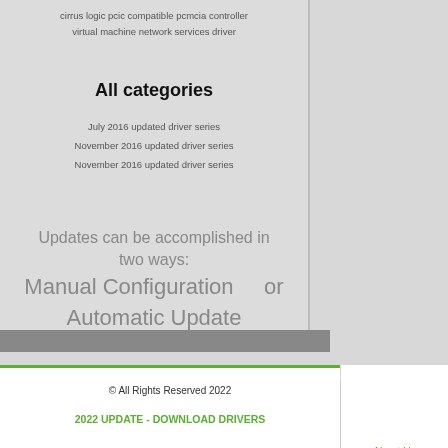cirrus logic pcic compatible pcmcia controller
virtual machine network services driver
All categories
July 2016 updated driver series
November 2016 updated driver series
November 2016 updated driver series
Updates can be accomplished in two ways:
Manual Configuration    or
Automatic Update
© All Rights Reserved 2022
2022 UPDATE - DOWNLOAD DRIVERS
About Us